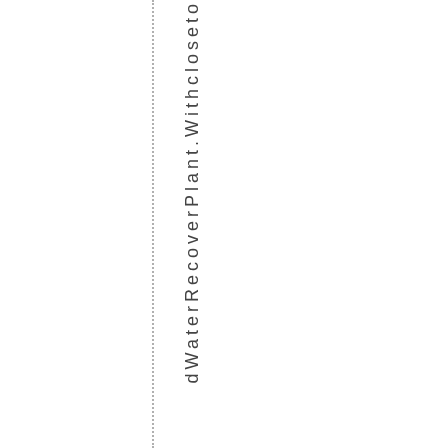dWaterRecoverPlant.Withcloseto